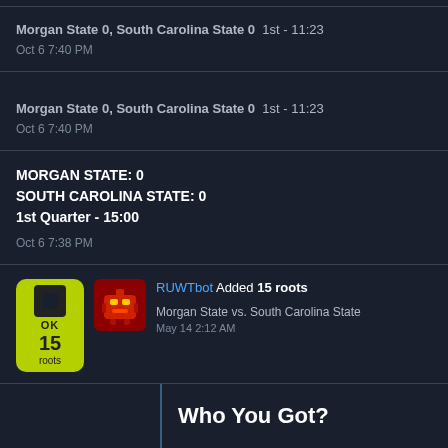Morgan State 0, South Carolina State 0  1st - 11:23
Oct 6 7:40 PM
Morgan State 0, South Carolina State 0  1st - 11:23
Oct 6 7:40 PM
MORGAN STATE: 0
SOUTH CAROLINA STATE: 0
1st Quarter - 15:00
Oct 6 7:38 PM
RUWTbot Added 15 roots
Morgan State vs. South Carolina State
May 14 2:12 AM
Who You Got?